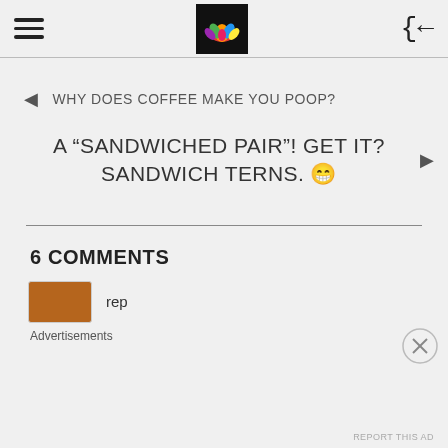WHY DOES COFFEE MAKE YOU POOP? | A "SANDWICHED PAIR"! GET IT? SANDWICH TERNS. 😁
◄ WHY DOES COFFEE MAKE YOU POOP?
A "SANDWICHED PAIR"! GET IT? SANDWICH TERNS. 😁 ►
6 COMMENTS
ren
Advertisements
REPORT THIS AD